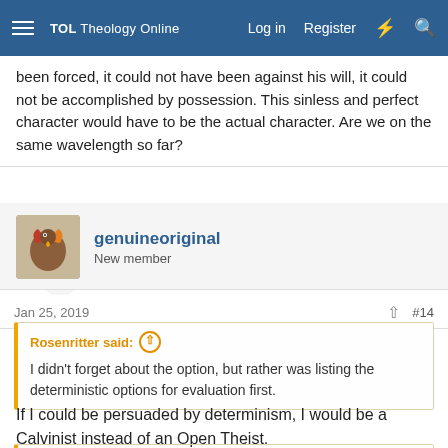TOL Theology Online — Log in  Register
been forced, it could not have been against his will, it could not be accomplished by possession. This sinless and perfect character would have to be the actual character. Are we on the same wavelength so far?
genuineoriginal
New member
Jan 25, 2019  #14
Rosenritter said:
I didn't forget about the option, but rather was listing the deterministic options for evaluation first.
If I could be persuaded by determinism, I would be a Calvinist instead of an Open Theist.
Rosenritter said: